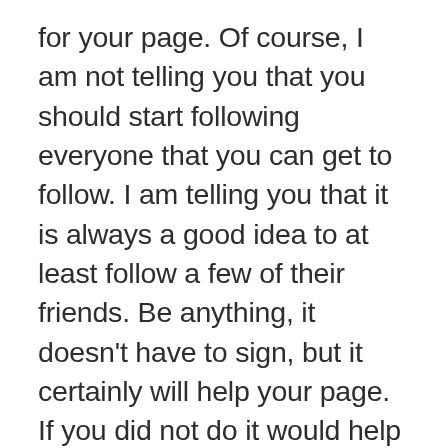for your page. Of course, I am not telling you that you should start following everyone that you can get to follow. I am telling you that it is always a good idea to at least follow a few of their friends. Be anything, it doesn't have to sign, but it certainly will help your page. If you did not do it would help is one thing that creates fake profiles. There is nothing worse than seeing pages where the author has nothing but a digital baby picture and a URL that say something like “Like us on Facebook.” This is not what people will think of you. If you want to get the most exposure for your